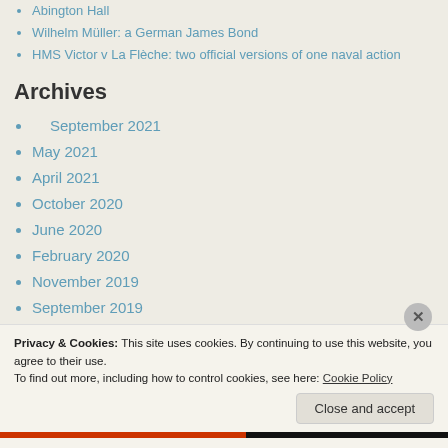Abington Hall
Wilhelm Müller: a German James Bond
HMS Victor v La Flèche: two official versions of one naval action
Archives
September 2021
May 2021
April 2021
October 2020
June 2020
February 2020
November 2019
September 2019
June 2019
May 2019
Privacy & Cookies: This site uses cookies. By continuing to use this website, you agree to their use.
To find out more, including how to control cookies, see here: Cookie Policy
Close and accept